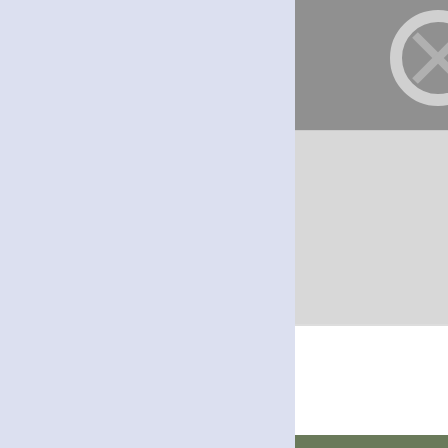[Figure (photo): Stone carving or architectural detail, partially visible, gray tones]
Church (Closed) x
Deconsecrated Church x
place: Flowery Field x
former: Parish Church x
top: Religious Sites x
St Stephen's doors by G... England
for square SJ9496
The doors to St Stephen's.
Tags: Church (Closed) x
[Figure (photo): Stone church doorway with Gothic arch, wooden doors, ivy and vegetation]
Church Doorway x
Church Entrance Door x
Deconsecrated Church x
place: Flowery Field x
former: Parish Church x
top: Religious Sites x
St Stephen's Notice boa... Gerald England
for square SJ9496